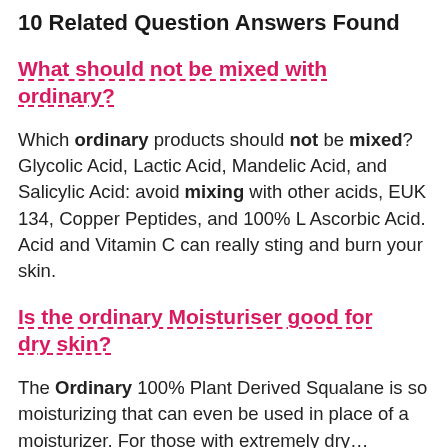10 Related Question Answers Found
What should not be mixed with ordinary?
Which ordinary products should not be mixed? Glycolic Acid, Lactic Acid, Mandelic Acid, and Salicylic Acid: avoid mixing with other acids, EUK 134, Copper Peptides, and 100% L Ascorbic Acid. Acid and Vitamin C can really sting and burn your skin.
Is the ordinary Moisturiser good for dry skin?
The Ordinary 100% Plant Derived Squalane is so moisturizing that can even be used in place of a moisturizer. For those with extremely dry…